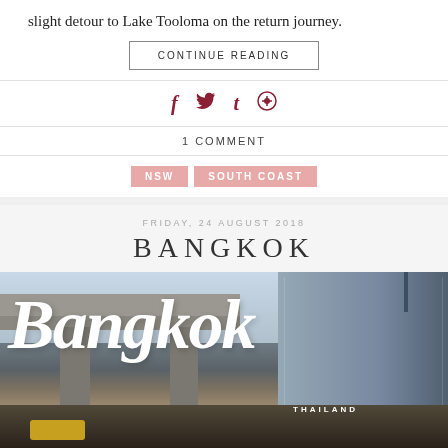slight detour to Lake Tooloma on the return journey.
CONTINUE READING
[Figure (other): Social media share icons: Facebook (f), Twitter (bird), Tumblr (t), Pinterest (circle with P)]
1 COMMENT
NSW  SOUTH COAST
FRIDAY, 24 AUGUST 2018
BANGKOK
[Figure (photo): Street-level photograph of Bangkok showing elevated highway/BTS skytrain overpass, concrete pillars, tall modern buildings in background, busy street scene. White cursive 'Bangkok' script overlaid on photo. 'THAILAND' text visible in lower right area.]